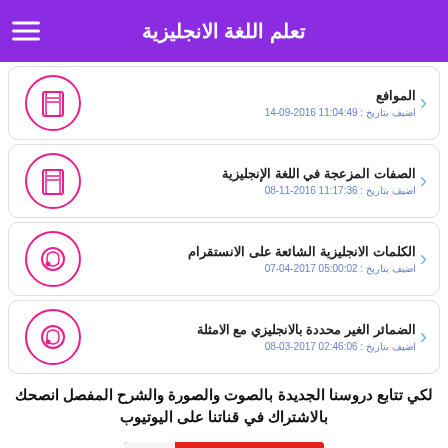تعلم اللغة الانجليزية
الموافع
اضيف بتاريخ : 11:04:49 2016-09-14
الصفات المزعجة في اللغة الإنجليزية
اضيف بتاريخ : 11:17:36 2016-11-08
الكلمات الانجليزية الشائعة على الانستقرام
اضيف بتاريخ : 05:00:02 2017-04-07
الضمائر الغير محددة بالانجليزي مع الامثلة
اضيف بتاريخ : 02:46:06 2017-03-08
لكي تتابع دروسنا الجديدة بالصوت والصورة والشرح المفصل انصحك بالاشتراك في قناتنا على اليوتيوب
[Figure (logo): YouTube subscribe button with 216K subscribers count]